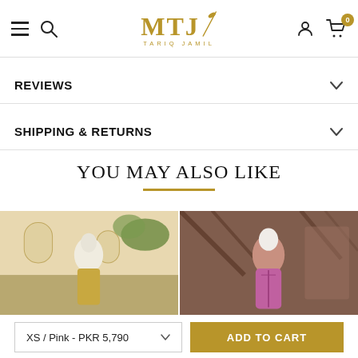MTJ TARIQ JAMIL — navigation header with hamburger, search, logo, user, cart (0)
REVIEWS
SHIPPING & RETURNS
YOU MAY ALSO LIKE
[Figure (photo): Fashion model/mannequin in traditional Pakistani clothing displayed outdoors against building with arched windows and green plants]
[Figure (photo): Fashion model/mannequin in pink/purple traditional Pakistani clothing displayed outdoors against tree branches]
XS / Pink - PKR 5,790
ADD TO CART